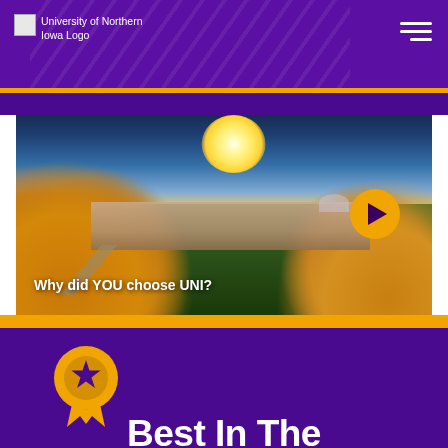University of Northern Iowa Logo
[Figure (photo): Aerial drone photo of University of Northern Iowa campus at sunset with fall foliage, autumn trees in gold and orange, campus buildings, and a golden play button overlay. Text reads: Why did YOU choose UNI?]
Best In The